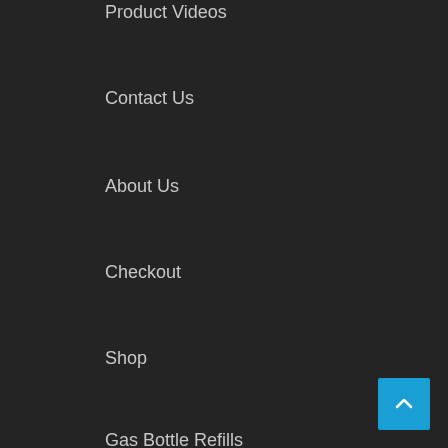Product Videos
Contact Us
About Us
Checkout
Shop
Gas Bottle Refills
Terms & Conditions
Delivery Policy
Warranty